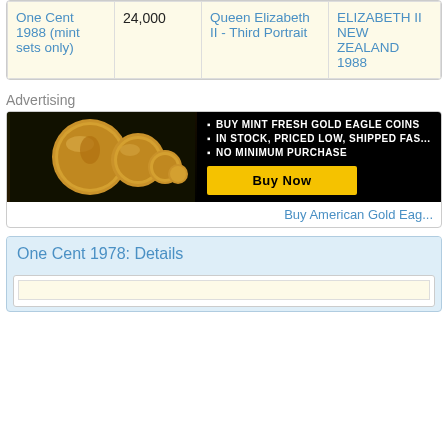| Name | Mintage | Obverse | Reverse |
| --- | --- | --- | --- |
| One Cent 1988 (mint sets only) | 24,000 | Queen Elizabeth II - Third Portrait | ELIZABETH II NEW ZEALAND 1988 |
Advertising
[Figure (photo): Advertisement banner for Buy American Gold Eagle Coins showing gold coins on black background with text: Buy Mint Fresh Gold Eagle Coins, In Stock Priced Low Shipped Fast, No Minimum Purchase, with a yellow Buy Now button]
Buy American Gold Eag...
One Cent 1978: Details